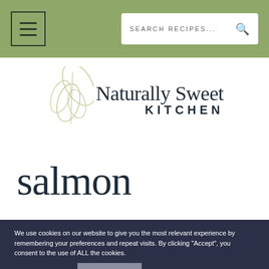Navigation bar with menu button and SEARCH RECIPES... search bar
[Figure (logo): Naturally Sweet Kitchen logo with decorative leaf illustration and serif/sans-serif text]
salmon
We use cookies on our website to give you the most relevant experience by remembering your preferences and repeat visits. By clicking “Accept”, you consent to the use of ALL the cookies.
Cookie settings   ACCEPT